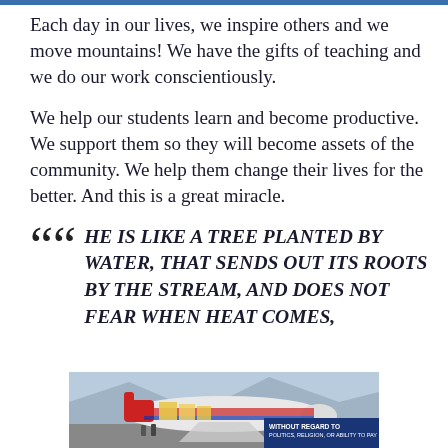Each day in our lives, we inspire others and we move mountains!  We have the gifts of teaching and we do our work conscientiously.
We help our students learn and become productive. We support them so they will become assets of the community. We help them change their lives for the better. And this is a great miracle.
““ HE IS LIKE A TREE PLANTED BY WATER, THAT SENDS OUT ITS ROOTS BY THE STREAM, AND DOES NOT FEAR WHEN HEAT COMES,
[Figure (photo): Advertisement photo showing cargo being loaded onto an aircraft (appears to be American Airlines). A badge in the lower right reads 'WITHOUT REGARD TO POLITICS, RELIGION, OR ABILITY TO PAY'.]